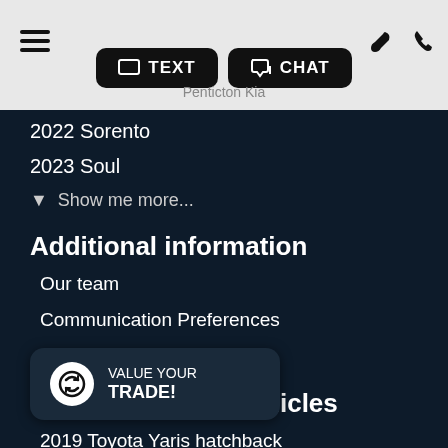TEXT | CHAT | Penticton Kia
2022 Sorento
2023 Soul
Show me more...
Additional information
Our team
Communication Preferences
Careers
Our top 10 used vehicles
2019 Toyota Yaris hatchback
2021 Kia Telluride
[Figure (infographic): VALUE YOUR TRADE! floating widget with circular refresh/trade icon]